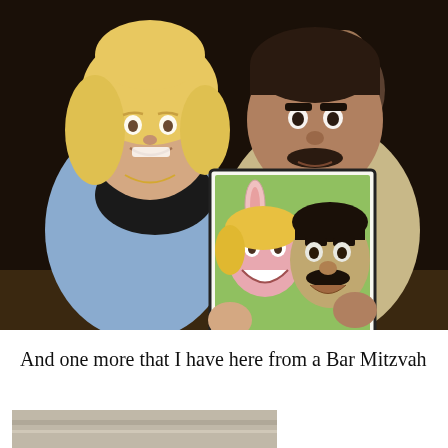[Figure (photo): A woman with blonde hair wearing a light blue sweater and a man with dark hair and mustache wearing a beige shirt, both smiling and holding up a caricature drawing of themselves. The caricature shows cartoon versions of both people, with the woman having bunny ears. They are seated at what appears to be a restaurant or event venue with a dark background.]
And one more that I have here from a Bar Mitzvah
[Figure (photo): Bottom portion of another photo, partially visible, showing what appears to be a gray/beige surface or table at a Bar Mitzvah event.]